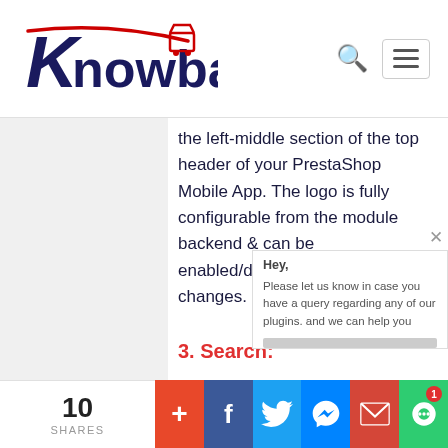Knowband logo, search icon, hamburger menu
the left-middle section of the top header of your PrestaShop Mobile App. The logo is fully configurable from the module backend & can be enabled/disabled including image changes.
3. Search:
The search option allows
[Figure (screenshot): Chat popup overlay showing 'Hey. Please let us know in case you have a query regarding any of our plugins. and we can help you' with a close X button]
10 SHARES | + | f | Twitter | Messenger | Gmail | Chat